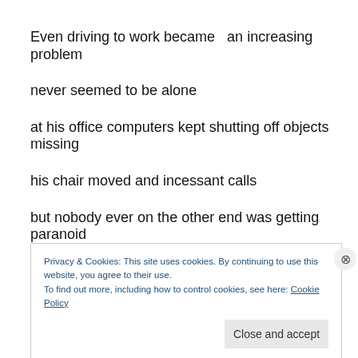Even driving to work became  an increasing problem
never seemed to be alone
at his office computers kept shutting off objects missing
his chair moved and incessant calls
but nobody ever on the other end was getting paranoid
this odd conduct co-workers him did avoid!
Privacy & Cookies: This site uses cookies. By continuing to use this website, you agree to their use.
To find out more, including how to control cookies, see here: Cookie Policy